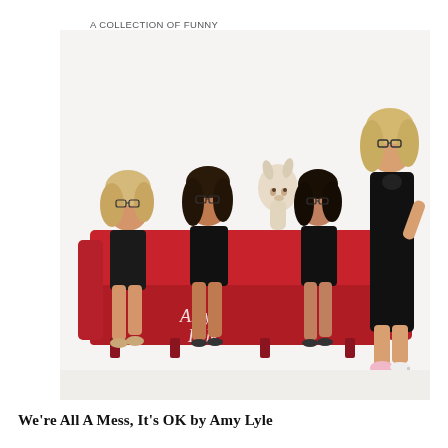A COLLECTION OF FUNNY ESSAYS AND ONE-LINERS ABOUT THE STRUGGLES OF EVERYDAY LIFE.
[Figure (photo): Four women dressed in black sitting and standing around a red couch, with a llama peeking out from behind them. The couch has 'Amy Lyle' written in script on it. Three women wear glasses and sit on the couch; one blonde woman stands to the right wearing a black dress. The woman on the far right wears one sneaker and one heel.]
We're All A Mess, It's OK by Amy Lyle